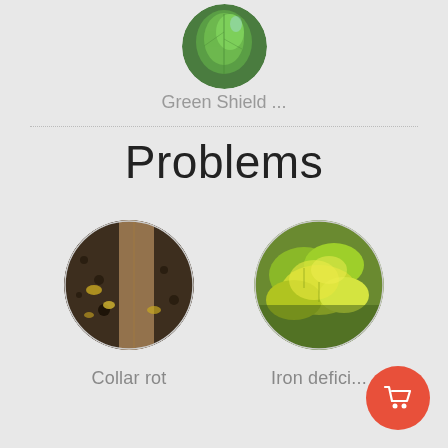[Figure (photo): Circular cropped photo of a green leaf/shield bug at top of page]
Green Shield ...
Problems
[Figure (photo): Circular cropped photo of collar rot on a plant stem/root showing soil and decay]
Collar rot
[Figure (photo): Circular cropped photo of iron deficiency in plants showing yellow-green leaves]
Iron defici...
[Figure (illustration): Red circular cart/shopping button in lower right corner with white cart icon]